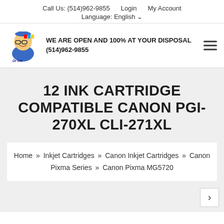Call Us: (514)962-9855   Login   My Account
Language: English
[Figure (logo): Dr Ink mascot logo — cartoon character with glasses and colorful ink cartridges]
WE ARE OPEN AND 100% AT YOUR DISPOSAL (514)962-9855
12 INK CARTRIDGE COMPATIBLE CANON PGI-270XL CLI-271XL
Home » Inkjet Cartridges » Canon Inkjet Cartridges » Canon Pixma Series » Canon Pixma MG5720